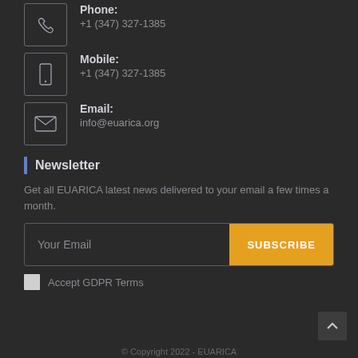Phone: +1 (347) 327-1385
Mobile: +1 (347) 327-1385
Email: info@euarica.org
Newsletter
Get all EUARICA latest news delivered to your email a few times a month.
Your Email
SUBSCRIBE
Accept GDPR Terms
© Copyright 2022 - EUARICA